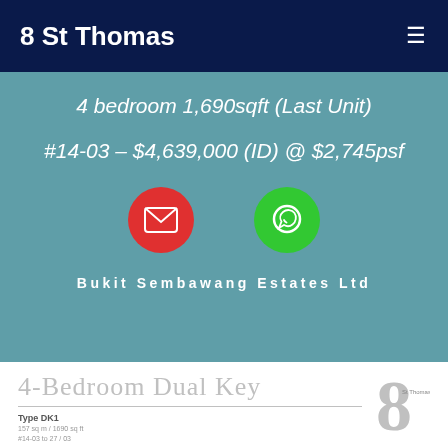8 St Thomas
4 bedroom 1,690sqft (Last Unit)
#14-03 – $4,639,000 (ID) @ $2,745psf
[Figure (infographic): Red circle email icon and green circle WhatsApp icon]
Bukit Sembawang Estates Ltd
4-Bedroom Dual Key
Type DK1
157 sq m / 1690 sq ft
#14-03 to 27 / 03